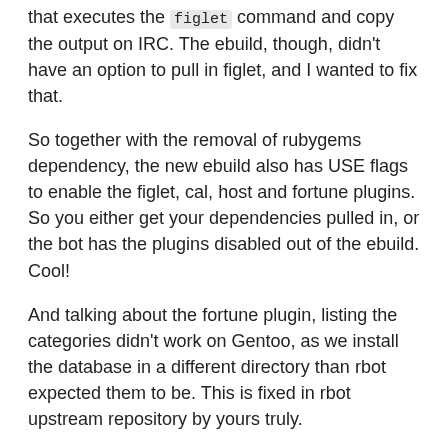that executes the figlet command and copy the output on IRC. The ebuild, though, didn't have an option to pull in figlet, and I wanted to fix that.
So together with the removal of rubygems dependency, the new ebuild also has USE flags to enable the figlet, cal, host and fortune plugins. So you either get your dependencies pulled in, or the bot has the plugins disabled out of the ebuild. Cool!
And talking about the fortune plugin, listing the categories didn't work on Gentoo, as we install the database in a different directory than rbot expected them to be. This is fixed in rbot upstream repository by yours truly.